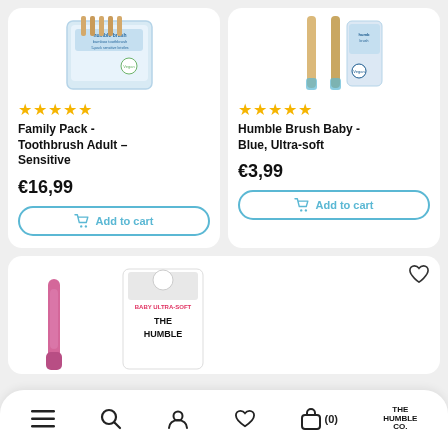[Figure (photo): Product image of Family Pack - Toothbrush Adult Sensitive, humble brush bamboo toothbrush 5-pack box]
[Figure (photo): Product image of Humble Brush Baby - Blue, Ultra-soft, showing bamboo toothbrush handles and packaging]
★★★★★
★★★★★
Family Pack - Toothbrush Adult – Sensitive
Humble Brush Baby - Blue, Ultra-soft
€16,99
€3,99
Add to cart
Add to cart
[Figure (photo): Partial view of pink toothbrush and product packaging for Humble Co baby ultra-soft toothbrush]
≡  🔍  👤  ♡  🛍 (0)  THE HUMBLE CO.